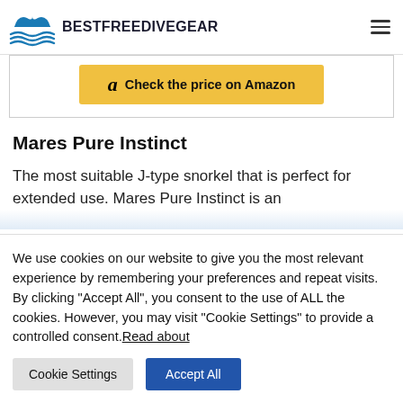BESTFREEDIVEGEAR
[Figure (other): Amazon 'Check the price on Amazon' button with yellow background and Amazon logo 'a']
Mares Pure Instinct
The most suitable J-type snorkel that is perfect for extended use. Mares Pure Instinct is an
We use cookies on our website to give you the most relevant experience by remembering your preferences and repeat visits. By clicking "Accept All", you consent to the use of ALL the cookies. However, you may visit "Cookie Settings" to provide a controlled consent. Read about
Cookie Settings | Accept All